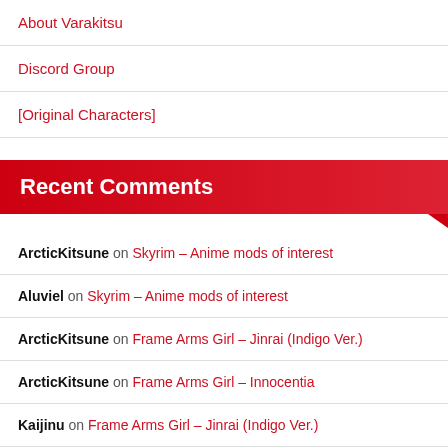About Varakitsu
Discord Group
[Original Characters]
Recent Comments
ArcticKitsune on Skyrim – Anime mods of interest
Aluviel on Skyrim – Anime mods of interest
ArcticKitsune on Frame Arms Girl – Jinrai (Indigo Ver.)
ArcticKitsune on Frame Arms Girl – Innocentia
Kaijinu on Frame Arms Girl – Jinrai (Indigo Ver.)
Archives